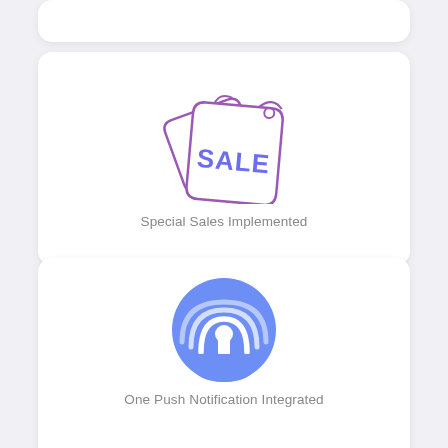[Figure (illustration): Partial card visible at top edge of page]
[Figure (illustration): Sale price tags icon — two overlapping price tags, one with a percent sign in purple/violet outline, one with SALE text in blue, purple outline]
Special Sales Implemented
[Figure (illustration): Push notification icon — blue circle with white wifi/signal waves radiating from a central pin/tower shape]
One Push Notification Integrated